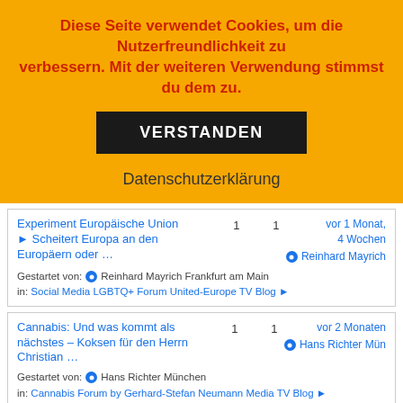Diese Seite verwendet Cookies, um die Nutzerfreundlichkeit zu verbessern. Mit der weiteren Verwendung stimmst du dem zu.
VERSTANDEN
Datenschutzerklärung
Experiment Europäische Union ► Scheitert Europa an den Europäern oder …
Gestartet von: Reinhard Mayrich Frankfurt am Main
in: Social Media LGBTQ+ Forum United-Europe TV Blog ►
1  1  vor 1 Monat, 4 Wochen
Reinhard Mayrich
Cannabis: Und was kommt als nächstes – Koksen für den Herrn Christian …
Gestartet von: Hans Richter München
in: Cannabis Forum by Gerhard-Stefan Neumann Media TV Blog ►
1  1  vor 2 Monaten
Hans Richter Mün
Cannabis Freigabe: Mir ist völlig
1  1  vor 2 Monaten